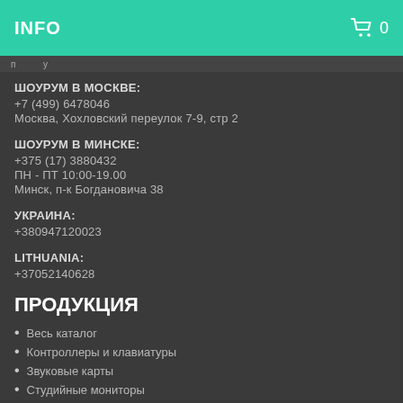INFO  🛒 0
ШОУРУМ В МОСКВЕ:
+7 (499) 6478046
Москва, Хохловский переулок 7-9, стр 2
ШОУРУМ В МИНСКЕ:
+375 (17) 3880432
ПН - ПТ 10:00-19.00
Минск, п-к Богдановича 38
УКРАИНА:
+380947120023
LITHUANIA:
+37052140628
ПРОДУКЦИЯ
Весь каталог
Контроллеры и клавиатуры
Звуковые карты
Студийные мониторы
Электрогитары
Акустика